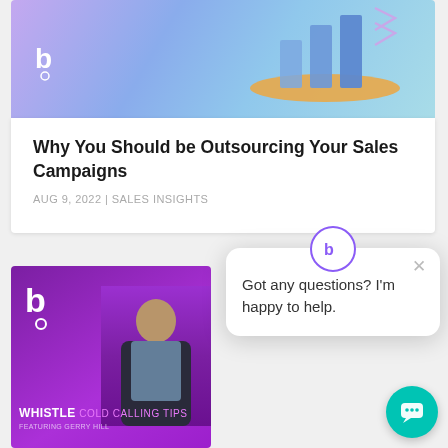[Figure (screenshot): Article card with purple/blue gradient hero image containing 3D bar chart illustration and b logo]
Why You Should be Outsourcing Your Sales Campaigns
AUG 9, 2022 | SALES INSIGHTS
[Figure (screenshot): Purple background card with Whistle logo and 'WHISTLE COLD CALLING TIPS FEATURING GERRY HILL' text, man in suit photo]
[Figure (screenshot): Chat popup bubble with bot icon showing 'Got any questions? I'm happy to help.' message and teal chat FAB button]